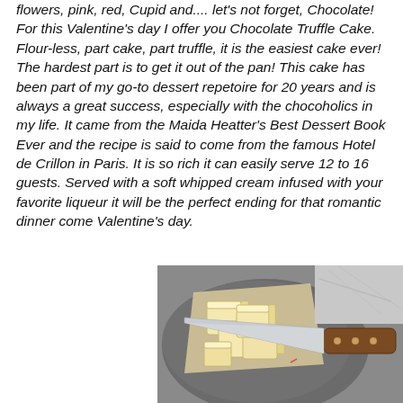flowers, pink, red, Cupid and.... let's not forget, Chocolate! For this Valentine's day I offer you Chocolate Truffle Cake. Flour-less, part cake, part truffle, it is the easiest cake ever! The hardest part is to get it out of the pan! This cake has been part of my go-to dessert repetoire for 20 years and is always a great success, especially with the chocoholics in my life. It came from the Maida Heatter's Best Dessert Book Ever and the recipe is said to come from the famous Hotel de Crillon in Paris. It is so rich it can easily serve 12 to 16 guests. Served with a soft whipped cream infused with your favorite liqueur it will be the perfect ending for that romantic dinner come Valentine's day.
[Figure (photo): Photo of butter cubes on parchment paper with a large kitchen knife on a dark round surface]